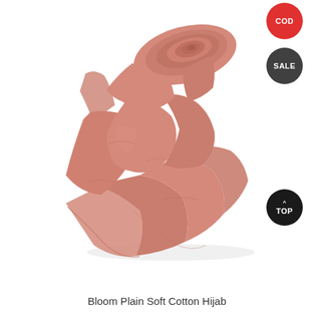[Figure (photo): A rolled and draped dusty rose/mauve colored plain soft cotton hijab displayed against a white background. The fabric is rolled at the top and flows loosely downward showing soft folds and drape.]
Bloom Plain Soft Cotton Hijab